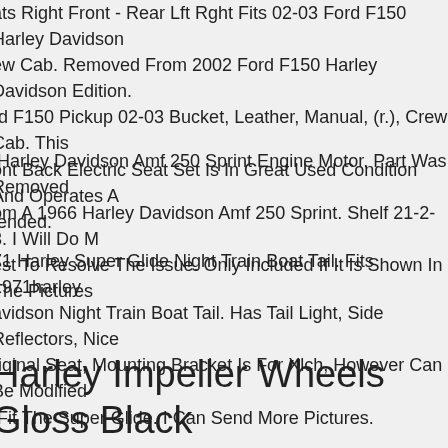ats Right Front - Rear Lft Rght Fits 02-03 Ford F150 Harley Davidson ew Cab. Removed From 2002 Ford F150 Harley Davidson Edition. rd F150 Pickup 02-03 Bucket, Leather, Manual, (r.), Crew Cab. This ont Back Electric Seat Set Is In Great Used Condition And Operates As tended.
Harley Davidson Amf 250 Sprint Engine Motor. Part Was Removed om A 1966 Harley Davidson Amf 250 Sprint. Shelf 21-2-3. I Will Do My est To Resolve The Issue. Only Included If It Is Shown In The Pictures.
71 Harley Super Glide Night Train Boat Tail. Fits 1971harley avidson Night Train Boat Tail. Has Tail Light, Side Reflectors, Nice riginal Seat, Mounting Bracket Is For Xlch, However Can Be Modified o Fit The Super Glide. I Can Send More Pictures.
Harley Impeller Wheels Gloss Black 014 -19 Road King Street Glide